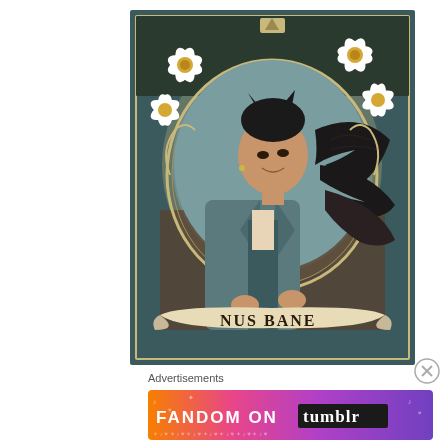[Figure (illustration): Art Nouveau style illustration of Magnus Bane character — a dark-haired man in a teal/grey suit with a black crow/raven wing behind him, surrounded by a decorative oval frame with white daffodil flowers. A banner at the bottom reads 'NUS BANE' (Magnus Bane). The illustration has warm earthy tones with cream, teal, and dark brown colors.]
Advertisements
[Figure (other): Tumblr advertisement banner with colorful gradient background (orange, pink, purple). Text reads 'FANDOM ON tumblr' with decorative icons including music notes, hearts, and fireworks.]